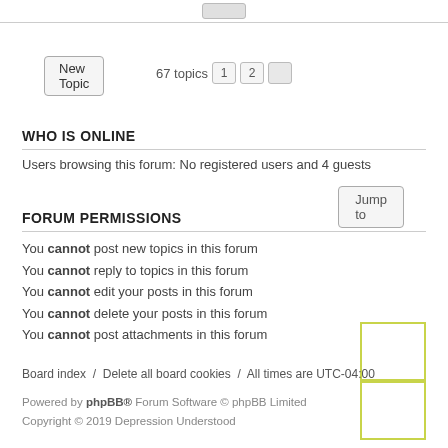New Topic
67 topics  1  2
Jump to
WHO IS ONLINE
Users browsing this forum: No registered users and 4 guests
FORUM PERMISSIONS
You cannot post new topics in this forum
You cannot reply to topics in this forum
You cannot edit your posts in this forum
You cannot delete your posts in this forum
You cannot post attachments in this forum
Board index  /  Delete all board cookies  /  All times are UTC-04:00
Powered by phpBB® Forum Software © phpBB Limited
Copyright © 2019 Depression Understood